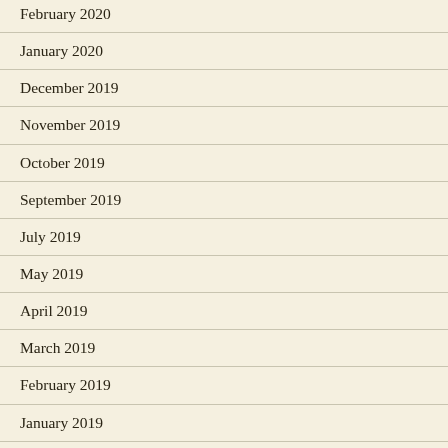February 2020
January 2020
December 2019
November 2019
October 2019
September 2019
July 2019
May 2019
April 2019
March 2019
February 2019
January 2019
December 2018
November 2018
October 2018